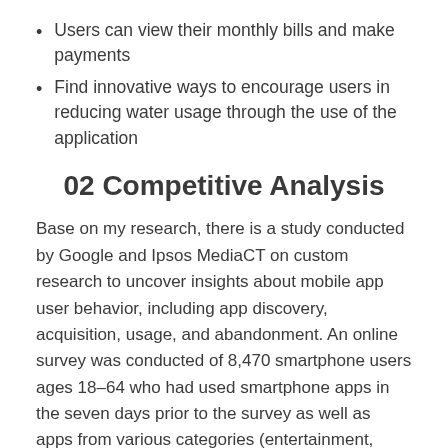Users can view their monthly bills and make payments
Find innovative ways to encourage users in reducing water usage through the use of the application
02 Competitive Analysis
Base on my research, there is a study conducted by Google and Ipsos MediaCT on custom research to uncover insights about mobile app user behavior, including app discovery, acquisition, usage, and abandonment. An online survey was conducted of 8,470 smartphone users ages 18–64 who had used smartphone apps in the seven days prior to the survey as well as apps from various categories (entertainment, finance, gaming, local, retail, social, tech, or travel).